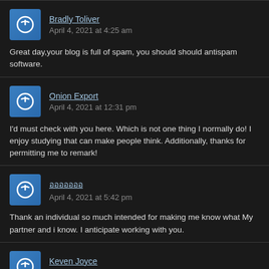Bradly Toliver
April 4, 2021 at 4:25 am
Great day,your blog is full of spam, you should should antispam software.
Onion Export
April 4, 2021 at 12:31 pm
I'd must check with you here. Which is not one thing I normally do! I enjoy studying that can make people think. Additionally, thanks for permitting me to remark!
อออออออ
April 4, 2021 at 5:42 pm
Thank an individual so much intended for making me know what My partner and i know. I anticipate working with you.
Keven Joyce
April 4, 2021 at 9:31 pm